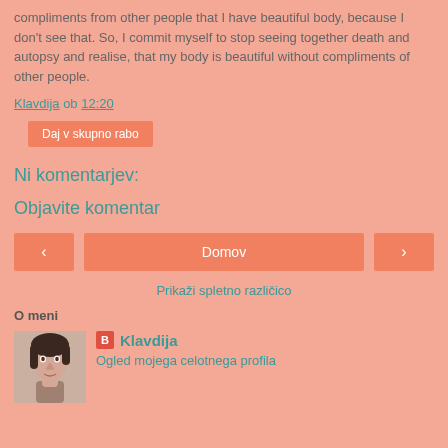compliments from other people that I have beautiful body, because I don't see that. So, I commit myself to stop seeing together death and autopsy and realise, that my body is beautiful without compliments of other people.
Klavdija ob 12:20
Daj v skupno rabo
Ni komentarjev:
Objavite komentar
< Domov >
Prikaži spletno različico
O meni
[Figure (photo): Profile photo of Klavdija - woman with dark hair]
Klavdija
Ogled mojega celotnega profila